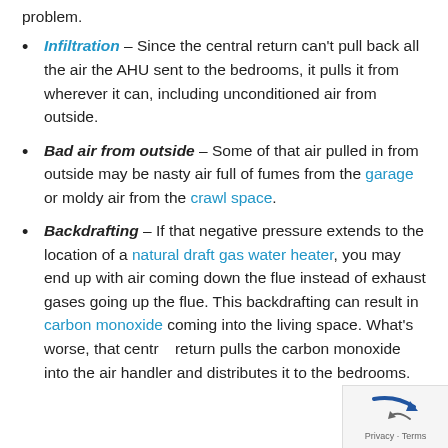problem.
Infiltration – Since the central return can't pull back all the air the AHU sent to the bedrooms, it pulls it from wherever it can, including unconditioned air from outside.
Bad air from outside – Some of that air pulled in from outside may be nasty air full of fumes from the garage or moldy air from the crawl space.
Backdrafting – If that negative pressure extends to the location of a natural draft gas water heater, you may end up with air coming down the flue instead of exhaust gases going up the flue. This backdrafting can result in carbon monoxide coming into the living space. What's worse, that central return pulls the carbon monoxide into the air handler and distributes it to the bedrooms.